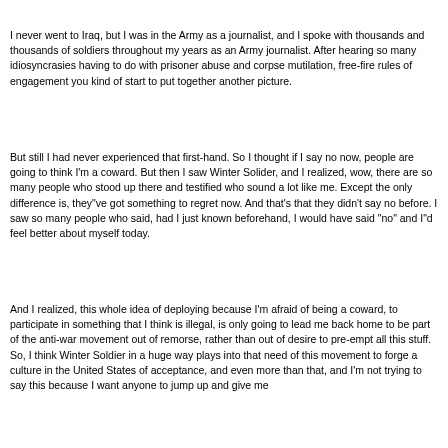I never went to Iraq, but I was in the Army as a journalist, and I spoke with thousands and thousands of soldiers throughout my years as an Army journalist. After hearing so many idiosyncrasies having to do with prisoner abuse and corpse mutilation, free-fire rules of engagement you kind of start to put together another picture.
But still I had never experienced that first-hand. So I thought if I say no now, people are going to think I'm a coward. But then I saw Winter Solider, and I realized, wow, there are so many people who stood up there and testified who sound a lot like me. Except the only difference is, they"ve got something to regret now. And that's that they didn't say no before. I saw so many people who said, had I just known beforehand, I would have said "no" and I"d feel better about myself today.
And I realized, this whole idea of deploying because I'm afraid of being a coward, to participate in something that I think is illegal, is only going to lead me back home to be part of the anti-war movement out of remorse, rather than out of desire to pre-empt all this stuff. So, I think Winter Soldier in a huge way plays into that need of this movement to forge a culture in the United States of acceptance, and even more than that, and I'm not trying to say this because I want anyone to jump up and give me